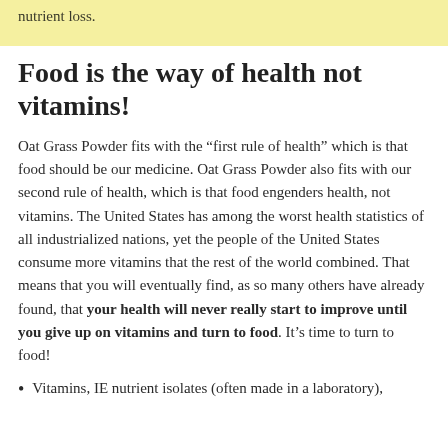nutrient loss.
Food is the way of health not vitamins!
Oat Grass Powder fits with the “first rule of health” which is that food should be our medicine. Oat Grass Powder also fits with our second rule of health, which is that food engenders health, not vitamins. The United States has among the worst health statistics of all industrialized nations, yet the people of the United States consume more vitamins that the rest of the world combined. That means that you will eventually find, as so many others have already found, that your health will never really start to improve until you give up on vitamins and turn to food. It’s time to turn to food!
Vitamins, IE nutrient isolates (often made in a laboratory),